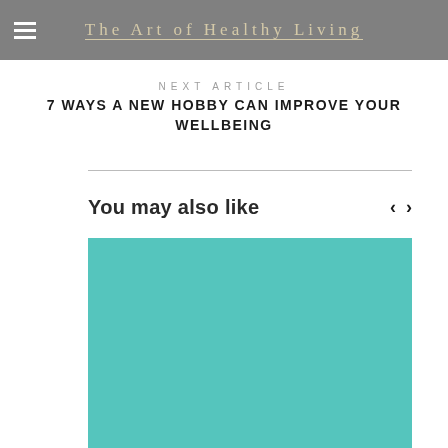The Art of Healthy Living
NEXT ARTICLE
7 WAYS A NEW HOBBY CAN IMPROVE YOUR WELLBEING
You may also like
[Figure (photo): Teal/turquoise colored image placeholder for a related article]